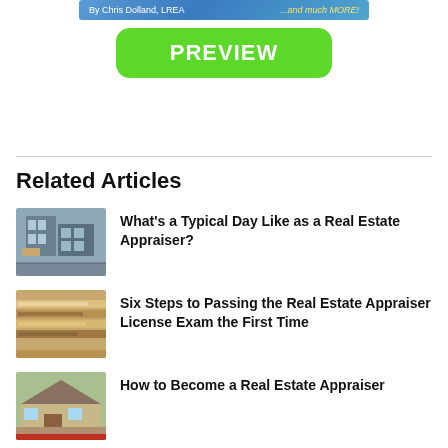[Figure (other): Book banner with author name 'By Chris Dolland, LREA' and text '...and much MORE!' on a blue/teal grid background]
[Figure (other): Green rounded rectangle button with white bold text 'PREVIEW']
Related Articles
[Figure (photo): Photo of a building under construction]
What's a Typical Day Like as a Real Estate Appraiser?
[Figure (photo): Photo of stacked books or shelving with orange tones]
Six Steps to Passing the Real Estate Appraiser License Exam the First Time
[Figure (photo): Photo of a house exterior]
How to Become a Real Estate Appraiser